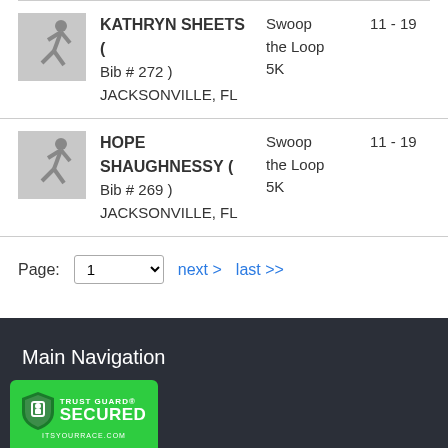KATHRYN SHEETS ( Bib # 272 ) JACKSONVILLE, FL | Swoop the Loop 5K | 11 - 19
HOPE SHAUGHNESSY ( Bib # 269 ) JACKSONVILLE, FL | Swoop the Loop 5K | 11 - 19
Page: 1  next >  last >>
Main Navigation | Trust Guard Secured | itsyourrace.com